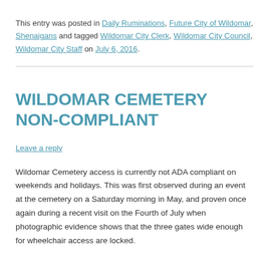This entry was posted in Daily Ruminations, Future City of Wildomar, Shenaigans and tagged Wildomar City Clerk, Wildomar City Council, Wildomar City Staff on July 6, 2016.
WILDOMAR CEMETERY NON-COMPLIANT
Leave a reply
Wildomar Cemetery access is currently not ADA compliant on weekends and holidays. This was first observed during an event at the cemetery on a Saturday morning in May, and proven once again during a recent visit on the Fourth of July when photographic evidence shows that the three gates wide enough for wheelchair access are locked.